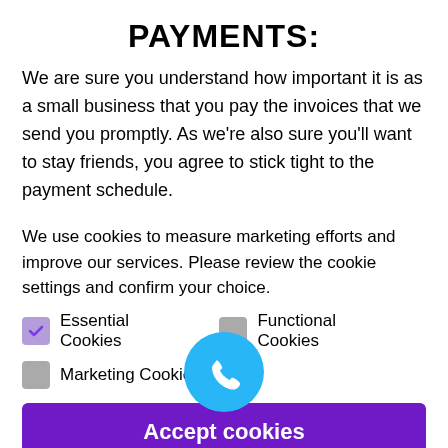PAYMENTS:
We are sure you understand how important it is as a small business that you pay the invoices that we send you promptly. As we're also sure you'll want to stay friends, you agree to stick tight to the payment schedule.
We use cookies to measure marketing efforts and improve our services. Please review the cookie settings and confirm your choice.
Essential Cookies (checked)
Functional Cookies (unchecked)
Marketing Cookies (unchecked)
Accept cookies
Confirm choice
Privacy Policy